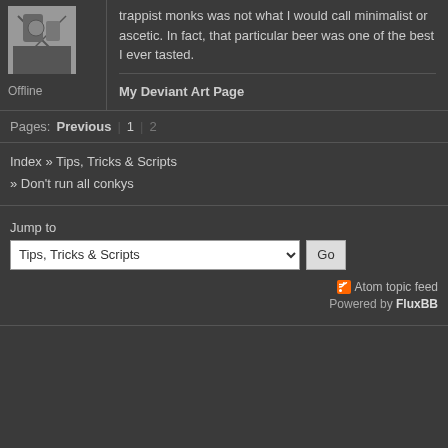trappist monks was not what I would call minimalist or ascetic. In fact, that particular beer was one of the best I ever tasted.
My Deviant Art Page
Offline
Pages: Previous | 1 | 2
Index » Tips, Tricks & Scripts
» Don't run all conkys
Jump to
Tips, Tricks & Scripts
Atom topic feed
Powered by FluxBB